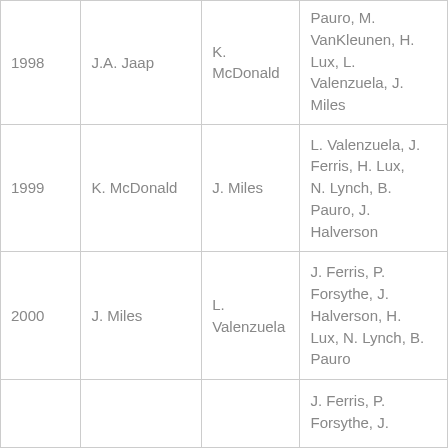| 1998 | J.A. Jaap | K. McDonald | Pauro, M. VanKleunen, H. Lux, L. Valenzuela, J. Miles |
| 1999 | K. McDonald | J. Miles | L. Valenzuela, J. Ferris, H. Lux, N. Lynch, B. Pauro, J. Halverson |
| 2000 | J. Miles | L. Valenzuela | J. Ferris, P. Forsythe, J. Halverson, H. Lux, N. Lynch, B. Pauro |
|  |  |  | J. Ferris, P. Forsythe, J. … |